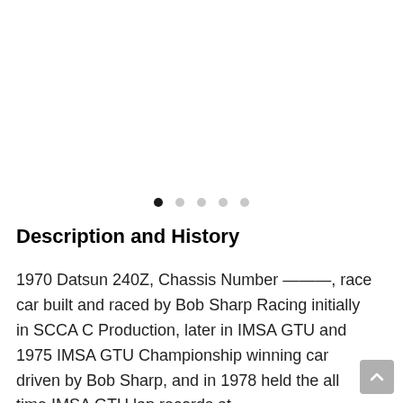[Figure (other): Image carousel placeholder area (white/blank)]
Description and History
1970 Datsun 240Z, Chassis Number ———, race car built and raced by Bob Sharp Racing initially in SCCA C Production, later in IMSA GTU and 1975 IMSA GTU Championship winning car driven by Bob Sharp, and in 1978 held the all time IMSA GTU lap records at